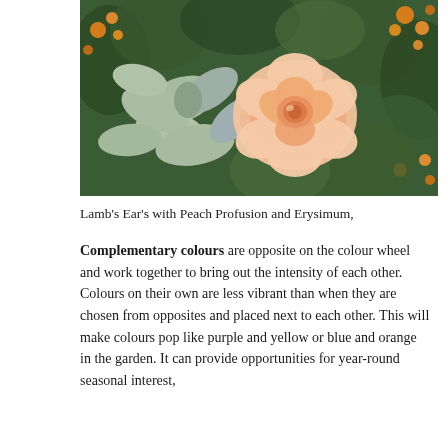[Figure (photo): Close-up photograph of a peach-coloured rose in bloom, surrounded by silvery-green Lamb's Ear foliage and orange Erysimum flowers in the background.]
Lamb's Ear's with Peach Profusion and Erysimum,
Complementary colours are opposite on the colour wheel and work together to bring out the intensity of each other. Colours on their own are less vibrant than when they are chosen from opposites and placed next to each other. This will make colours pop like purple and yellow or blue and orange in the garden. It can provide opportunities for year-round seasonal interest,